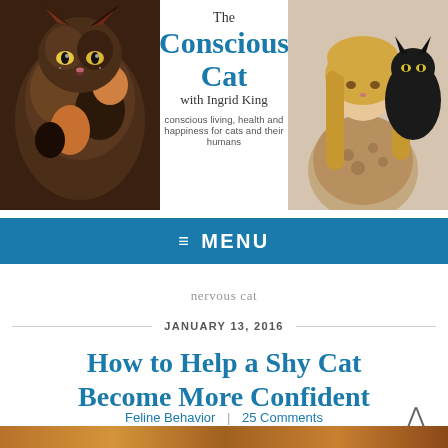[Figure (photo): Website header banner for The Conscious Cat with Ingrid King. Left side shows a tortoiseshell cat photo, center has the logo text, right side shows a woman with blonde hair holding a black cat.]
The Conscious Cat with Ingrid King — conscious living, health and happiness for cats and their humans
≡  MENU
nervous cat
JANUARY 13, 2016
How to Help a Shy Cat Become More Confident
Feline Behavior  |  25 Comments
[Figure (photo): Bottom strip showing close-up of tiger/tabby cat fur pattern in warm orange and brown tones.]